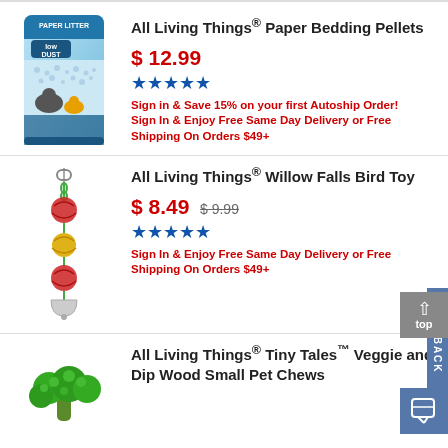[Figure (photo): Product image of All Living Things Paper Bedding Pellets bag - light blue bag with birds pictured]
All Living Things® Paper Bedding Pellets
$ 12.99
[Figure (other): 5-star rating shown in blue stars]
Sign in & Save 15% on your first Autoship Order!
Sign In & Enjoy Free Same Day Delivery or Free Shipping On Orders $49+
[Figure (photo): Product image of All Living Things Willow Falls Bird Toy - colorful wicker ball toy on chain]
All Living Things® Willow Falls Bird Toy
$ 8.49  $ 9.99
[Figure (other): 5-star rating shown in blue stars]
Sign In & Enjoy Free Same Day Delivery or Free Shipping On Orders $49+
[Figure (photo): Product image of All Living Things Tiny Tales Veggie and Dip Wood Small Pet Chews - broccoli image]
All Living Things® Tiny Tales™ Veggie and Dip Wood Small Pet Chews